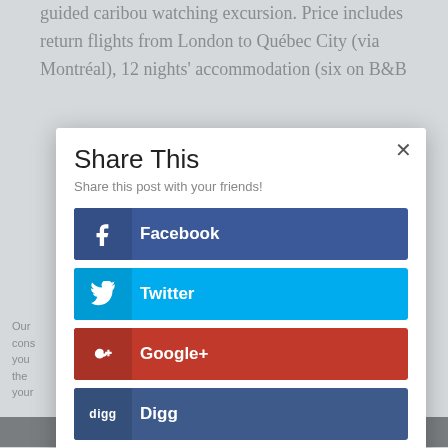guided caribou watching excursion. Price includes return flights from London to Québec City (via Montréal), 12 nights' accommodation (six on B&B
Share This
Share this post with your friends!
Facebook
Twitter
Google+
Digg
Pinterest
reddit
Our ... cons ... you ... the ... your